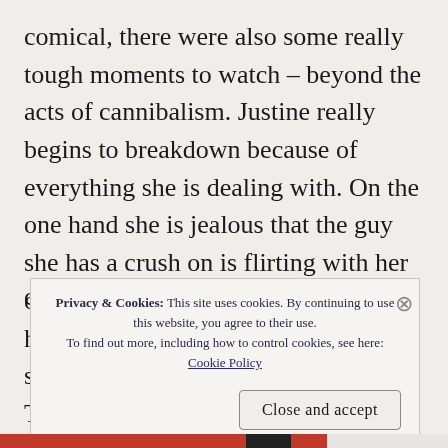comical, there were also some really tough moments to watch – beyond the acts of cannibalism. Justine really begins to breakdown because of everything she is dealing with. On the one hand she is jealous that the guy she has a crush on is flirting with her older sister, and then on the other hand she is also trying (but failing) to suppress her want to eat human flesh. There's a lot to unpack with 'Raw' and Justine and we are at all times up
Privacy & Cookies: This site uses cookies. By continuing to use this website, you agree to their use.
To find out more, including how to control cookies, see here:
Cookie Policy